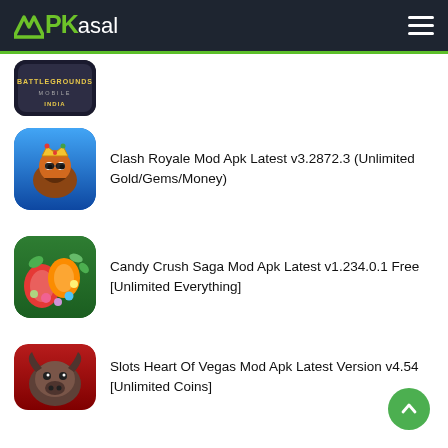APKasal
[Figure (screenshot): Battlegrounds Mobile India app icon (partially visible, cropped at top)]
[Figure (screenshot): Clash Royale app icon with cartoon barbarian king character]
Clash Royale Mod Apk Latest v3.2872.3 (Unlimited Gold/Gems/Money)
[Figure (screenshot): Candy Crush Saga app icon with colorful candy pieces]
Candy Crush Saga Mod Apk Latest v1.234.0.1 Free [Unlimited Everything]
[Figure (screenshot): Slots Heart of Vegas app icon with buffalo animal]
Slots Heart Of Vegas Mod Apk Latest Version v4.54 [Unlimited Coins]